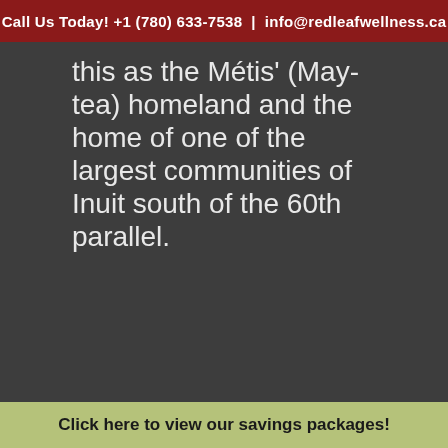Call Us Today! +1 (780) 633-7538  |  info@redleafwellness.ca
this as the Métis' (May-tea) homeland and the home of one of the largest communities of Inuit south of the 60th parallel.
Click here to view our savings packages!